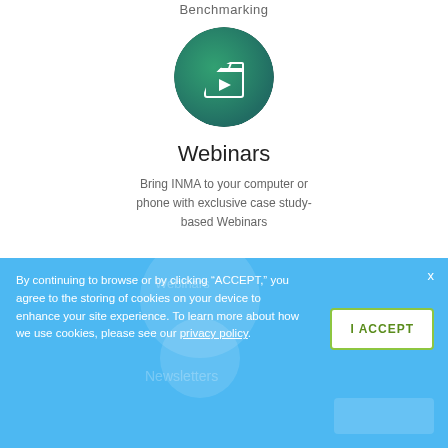Benchmarking
[Figure (photo): Circular profile photo of a person with green teal overlay and a clapperboard/video icon in the center]
Webinars
Bring INMA to your computer or phone with exclusive case study-based Webinars
By continuing to browse or by clicking “ACCEPT,” you agree to the storing of cookies on your device to enhance your site experience. To learn more about how we use cookies, please see our privacy policy.